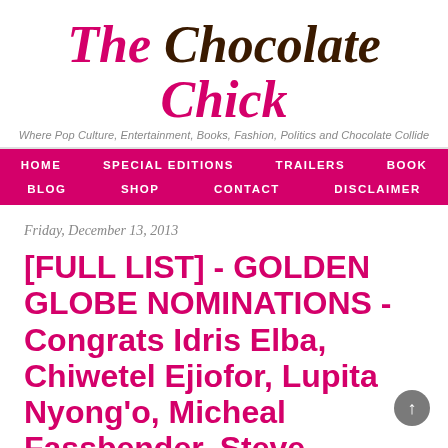The Chocolate Chick
Where Pop Culture, Entertainment, Books, Fashion, Politics and Chocolate Collide
HOME   SPECIAL EDITIONS   TRAILERS   BOOK   BLOG   SHOP   CONTACT   DISCLAIMER
Friday, December 13, 2013
[FULL LIST] - GOLDEN GLOBE NOMINATIONS - Congrats Idris Elba, Chiwetel Ejiofor, Lupita Nyong'o, Micheal Fassbender, Steve